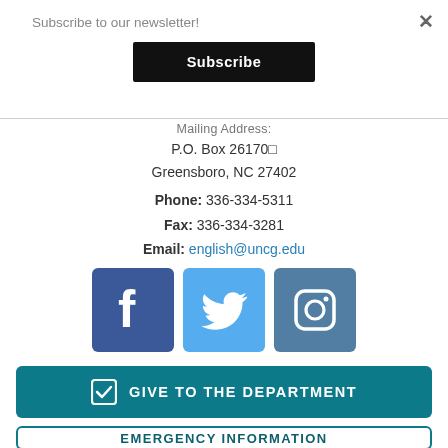Subscribe to our newsletter!
Subscribe
Mailing Address:
P.O. Box 26170
Greensboro, NC 27402
Phone: 336-334-5311
Fax: 336-334-3281
Email: english@uncg.edu
[Figure (logo): Facebook, Twitter, and Instagram social media icons]
GIVE TO THE DEPARTMENT
EMERGENCY INFORMATION